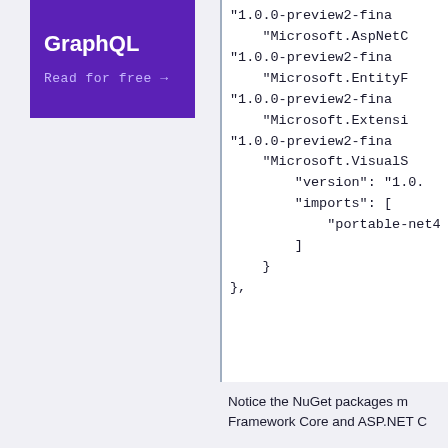[Figure (logo): Purple box with GraphQL title and 'Read for free →' link]
"1.0.0-preview2-fina
    "Microsoft.AspNetC
"1.0.0-preview2-fina
    "Microsoft.EntityF
"1.0.0-preview2-fina
    "Microsoft.Extensi
"1.0.0-preview2-fina
    "Microsoft.VisualS
        "version": "1.0.
        "imports": [
            "portable-net4
        ]
    }
},
Notice the NuGet packages m
Framework Core and ASP.NET C